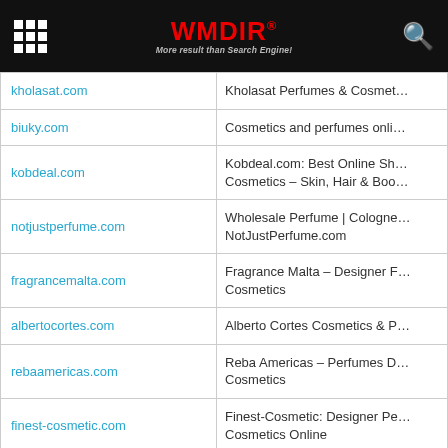WMDIR® - More result than Search Engine!
| Domain | Description |
| --- | --- |
| kholasat.com | Kholasat Perfumes & Cosmet… |
| biuky.com | Cosmetics and perfumes onli… |
| kobdeal.com | Kobdeal.com: Best Online Sh… Cosmetics – Skin, Hair & Boo… |
| notjustperfume.com | Wholesale Perfume | Cologne… NotJustPerfume.com |
| fragrancemalta.com | Fragrance Malta – Designer F… Cosmetics |
| albertocortes.com | Alberto Cortes Cosmetics & P… |
| rebaamericas.com | Reba Americas – Perfumes D… Cosmetics |
| finest-cosmetic.com | Finest-Cosmetic: Designer Pe… Cosmetics Online |
| dermott.biz | Dermott Ltd : Creation of Luxe… |